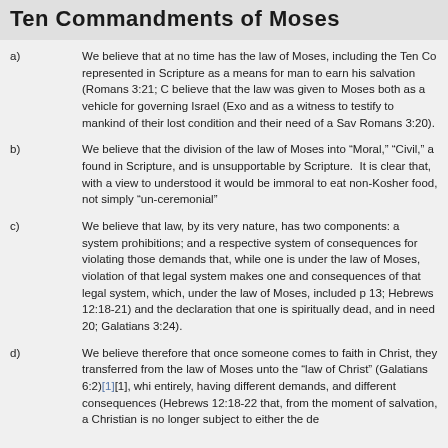Ten Commandments of Moses
a) We believe that at no time has the law of Moses, including the Ten Co represented in Scripture as a means for man to earn his salvation (Romans 3:21; C believe that the law was given to Moses both as a vehicle for governing Israel (Exo and as a witness to testify to mankind of their lost condition and their need of a Sav Romans 3:20).
b) We believe that the division of the law of Moses into "Moral," "Civil," a found in Scripture, and is unsupportable by Scripture. It is clear that, with a view to understood it would be immoral to eat non-Kosher food, not simply "un-ceremonial"
c) We believe that law, by its very nature, has two components: a system prohibitions; and a respective system of consequences for violating those demands that, while one is under the law of Moses, violation of that legal system makes one and consequences of that legal system, which, under the law of Moses, included p 13; Hebrews 12:18-21) and the declaration that one is spiritually dead, and in need 20; Galatians 3:24).
d) We believe therefore that once someone comes to faith in Christ, they transferred from the law of Moses unto the "law of Christ" (Galatians 6:2)[1][1], whi entirely, having different demands, and different consequences (Hebrews 12:18-22 that, from the moment of salvation, a Christian is no longer subject to either the de